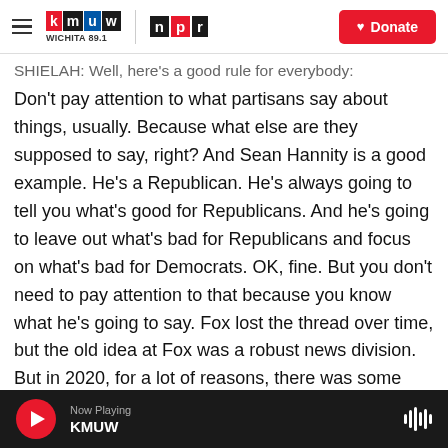KMUW WICHITA 89.1 | NPR | Donate
SHIELAH: Well, here's a good rule for everybody:
Don't pay attention to what partisans say about things, usually. Because what else are they supposed to say, right? And Sean Hannity is a good example. He's a Republican. He's always going to tell you what's good for Republicans. And he's going to leave out what's bad for Republicans and focus on what's bad for Democrats. OK, fine. But you don't need to pay attention to that because you know what he's going to say. Fox lost the thread over time, but the old idea at Fox was a robust news division. But in 2020, for a lot of reasons, there was some panic.
Now Playing KMUW